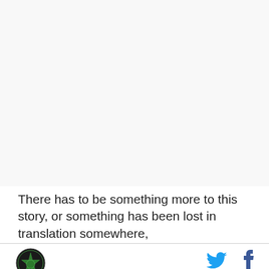[Figure (photo): Large blank/white image placeholder area at top of page]
There has to be something more to this story, or something has been lost in translation somewhere,
[Figure (logo): Circular logo with green star and text, Dallas Stars style sports logo]
[Figure (logo): Twitter bird icon in cyan/blue]
[Figure (logo): Facebook f icon in blue]